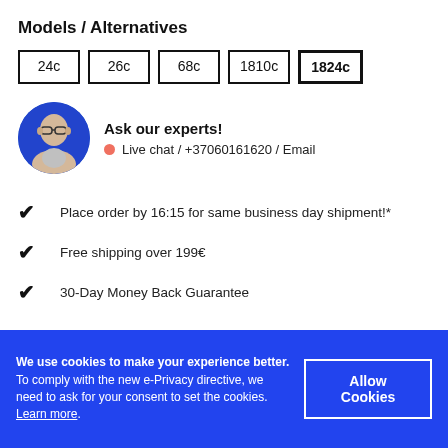Models / Alternatives
24c
26c
68c
1810c
1824c
[Figure (photo): Circular avatar photo of a bald man with glasses on a blue background]
Ask our experts!
Live chat / +37060161620 / Email
Place order by 16:15 for same business day shipment!*
Free shipping over 199€
30-Day Money Back Guarantee
We use cookies to make your experience better. To comply with the new e-Privacy directive, we need to ask for your consent to set the cookies. Learn more.